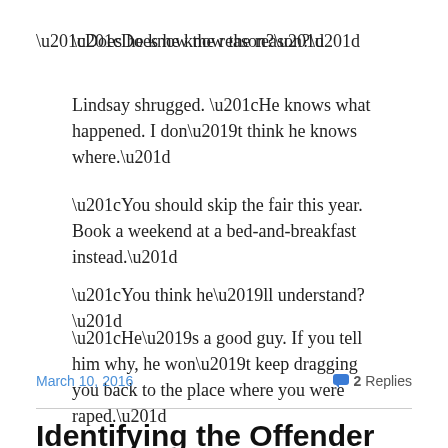“Does he know the reason?”
Lindsay shrugged. “He knows what happened. I don’t think he knows where.”
“You should skip the fair this year. Book a weekend at a bed-and-breakfast instead.”
“You think he’ll understand?”
“He’s a good guy. If you tell him why, he won’t keep dragging you back to the place where you were raped.”
March 10, 2016   2 Replies
Identifying the Offender